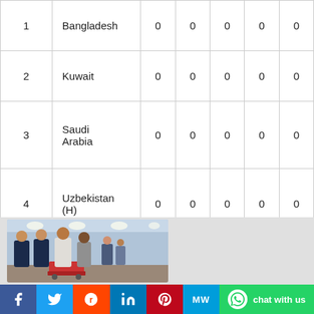|  |  |  |  |  |  |  |
| --- | --- | --- | --- | --- | --- | --- |
| 1 | Bangladesh | 0 | 0 | 0 | 0 | 0 |
| 2 | Kuwait | 0 | 0 | 0 | 0 | 0 |
| 3 | Saudi Arabia | 0 | 0 | 0 | 0 | 0 |
| 4 | Uzbekistan (H) | 0 | 0 | 0 | 0 | 0 |
[Figure (photo): Group photo of football players in dark blue tracksuits at what appears to be an airport or indoor venue]